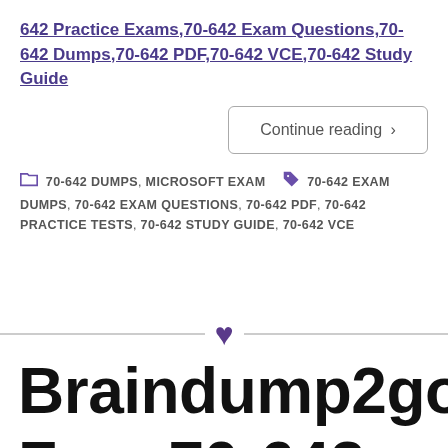642 Practice Exams,70-642 Exam Questions,70-642 Dumps,70-642 PDF,70-642 VCE,70-642 Study Guide
Continue reading ›
70-642 DUMPS, MICROSOFT EXAM   70-642 EXAM DUMPS, 70-642 EXAM QUESTIONS, 70-642 PDF, 70-642 PRACTICE TESTS, 70-642 STUDY GUIDE, 70-642 VCE
[Figure (illustration): Heart icon centered on a horizontal divider line]
Braindump2go Free 70-642 VCE